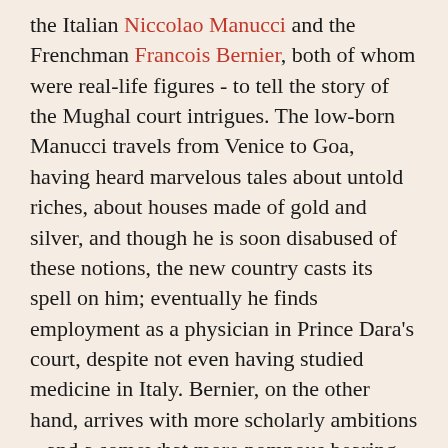the Italian Niccolao Manucci and the Frenchman Francois Bernier, both of whom were real-life figures - to tell the story of the Mughal court intrigues. The low-born Manucci travels from Venice to Goa, having heard marvelous tales about untold riches, about houses made of gold and silver, and though he is soon disabused of these notions, the new country casts its spell on him; eventually he finds employment as a physician in Prince Dara's court, despite not even having studied medicine in Italy. Bernier, on the other hand, arrives with more scholarly ambitions – and a somewhat more pompous bearing – and manages to maintain a largely detached attitude towards India and its people. However, he becomes close to Shah Jahan's foreign minister Danishmand Khan, a man who will be called upon to make a hard